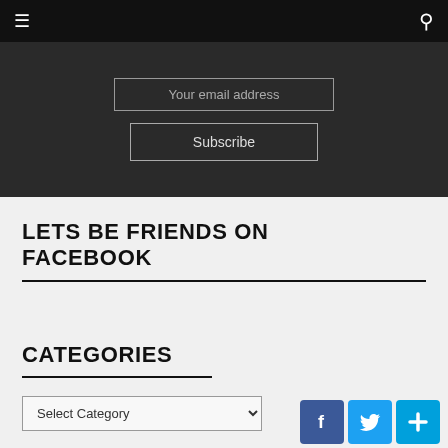Navigation bar with menu and search icons
[Figure (screenshot): Dark section with email address input field and Subscribe button]
LETS BE FRIENDS ON FACEBOOK
CATEGORIES
[Figure (screenshot): Category dropdown select box with 'Select Category' option and social media icons (Facebook, Twitter, Plus)]